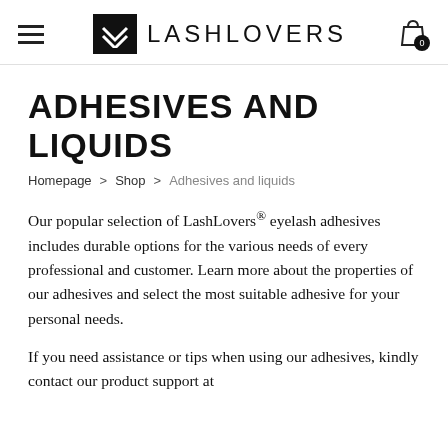LASHLOVERS
ADHESIVES AND LIQUIDS
Homepage > Shop > Adhesives and liquids
Our popular selection of LashLovers® eyelash adhesives includes durable options for the various needs of every professional and customer. Learn more about the properties of our adhesives and select the most suitable adhesive for your personal needs.
If you need assistance or tips when using our adhesives, kindly contact our product support at